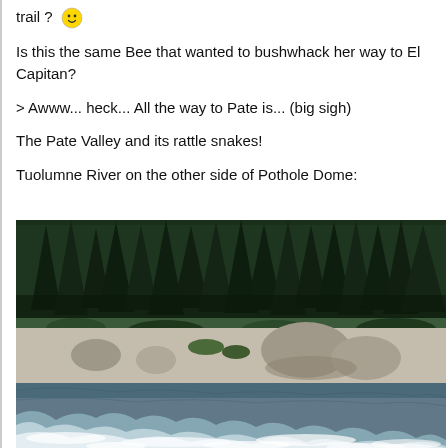trail ? 🙂
Is this the same Bee that wanted to bushwhack her way to El Capitan?
> Awww... heck... All the way to Pate is... (big sigh)
The Pate Valley and its rattle snakes!
Tuolumne River on the other side of Pothole Dome:
[Figure (photo): Photograph of the Tuolumne River with white water rapids in the foreground, smooth granite rocks and boulders in the middle ground, and dense tall pine/fir trees in the background.]